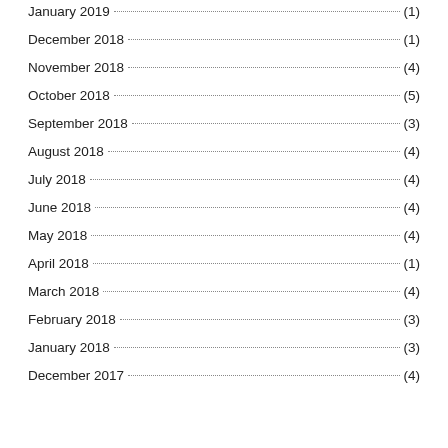January 2019 (1)
December 2018 (1)
November 2018 (4)
October 2018 (5)
September 2018 (3)
August 2018 (4)
July 2018 (4)
June 2018 (4)
May 2018 (4)
April 2018 (1)
March 2018 (4)
February 2018 (3)
January 2018 (3)
December 2017 (4)